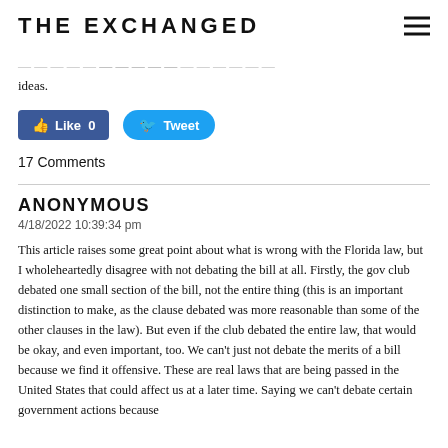THE EXCHANGED
ideas.
[Figure (other): Social sharing buttons: Facebook Like (0) and Twitter Tweet]
17 Comments
ANONYMOUS
4/18/2022 10:39:34 pm
This article raises some great point about what is wrong with the Florida law, but I wholeheartedly disagree with not debating the bill at all. Firstly, the gov club debated one small section of the bill, not the entire thing (this is an important distinction to make, as the clause debated was more reasonable than some of the other clauses in the law). But even if the club debated the entire law, that would be okay, and even important, too. We can't just not debate the merits of a bill because we find it offensive. These are real laws that are being passed in the United States that could affect us at a later time. Saying we can't debate certain government actions because